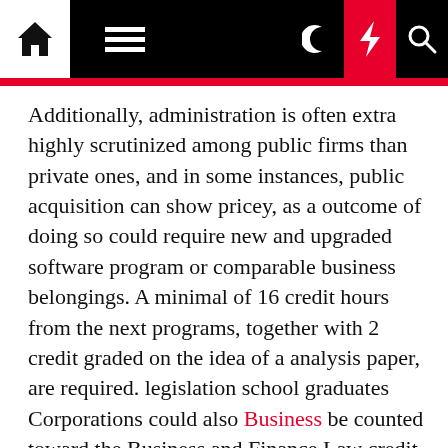Navigation bar with home, menu, moon, lightning, and search icons
Additionally, administration is often extra highly scrutinized among public firms than private ones, and in some instances, public acquisition can show pricey, as a outcome of doing so could require new and upgraded software program or comparable business belongings. A minimal of 16 credit hours from the next programs, together with 2 credit graded on the idea of a analysis paper, are required. legislation school graduates Corporations could also Business be counted toward the Business and Finance Law credit requirement. Attendance at Business and Finance Law Program speaker occasions is also inspired. The Business Finance degree prepares students for careers in company finance, commercial banking, investment banking, monetary planning, and other finance and business-